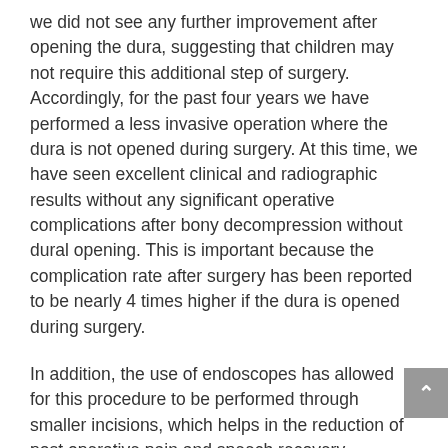we did not see any further improvement after opening the dura, suggesting that children may not require this additional step of surgery. Accordingly, for the past four years we have performed a less invasive operation where the dura is not opened during surgery. At this time, we have seen excellent clinical and radiographic results without any significant operative complications after bony decompression without dural opening. This is important because the complication rate after surgery has been reported to be nearly 4 times higher if the dura is opened during surgery.
In addition, the use of endoscopes has allowed for this procedure to be performed through smaller incisions, which helps in the reduction of post operative pain and speech recovery.
Specific treatment for a Chiari malformation will